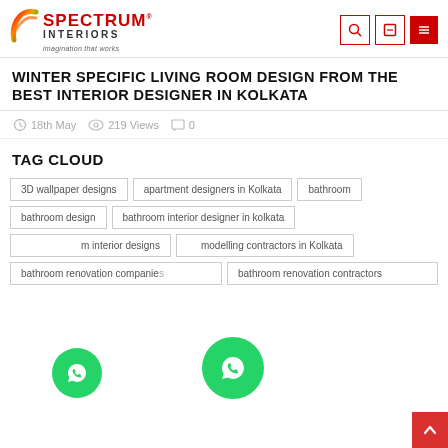[Figure (logo): Spectrum Interiors logo with rainbow arc, red SPECTRUM text, and tagline 'imagination that works']
WINTER SPECIFIC LIVING ROOM DESIGN FROM THE BEST INTERIOR DESIGNER IN KOLKATA
18th May   219 Views   0
TAG CLOUD
3D wallpaper designs
apartment designers in Kolkata
bathroom
bathroom design
bathroom interior designer in kolkata
bathroom interior designs
bathroom remodelling contractors in Kolkata
bathroom renovation companies
bathroom renovation contractors